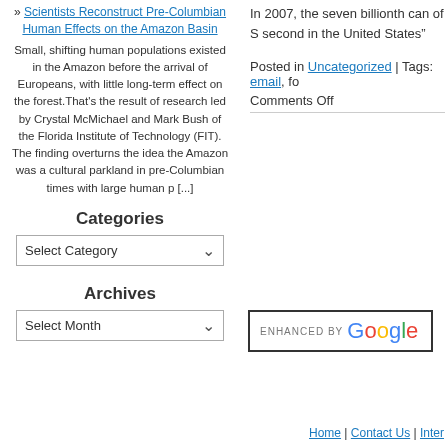» Scientists Reconstruct Pre-Columbian Human Effects on the Amazon Basin
Small, shifting human populations existed in the Amazon before the arrival of Europeans, with little long-term effect on the forest.That's the result of research led by Crystal McMichael and Mark Bush of the Florida Institute of Technology (FIT). The finding overturns the idea the Amazon was a cultural parkland in pre-Columbian times with large human p [...]
In 2007, the seven billionth can of S second in the United States”
Categories
Select Category
Archives
Select Month
Posted in Uncategorized | Tags: email, fo
Comments Off
[Figure (logo): Enhanced by Google search box with Google logo text in multicolor]
Home | Contact Us | Inter